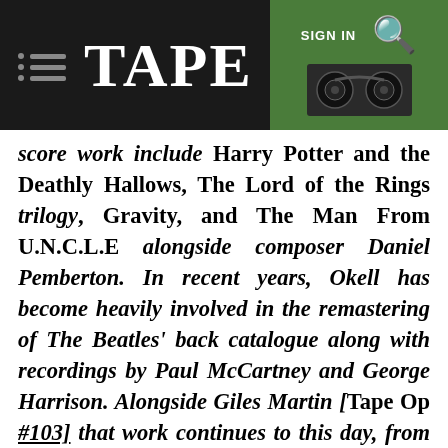Tape Op — SIGN IN [search icon]
score work include Harry Potter and the Deathly Hallows, The Lord of the Rings trilogy, Gravity, and The Man From U.N.C.L.E alongside composer Daniel Pemberton. In recent years, Okell has become heavily involved in the remastering of The Beatles' back catalogue along with recordings by Paul McCartney and George Harrison. Alongside Giles Martin [Tape Op #103] that work continues to this day, from the recently released 50-year